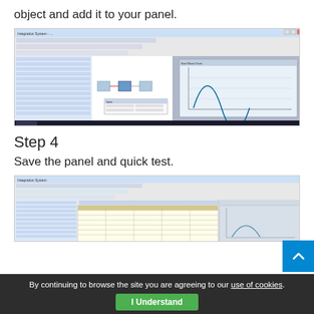object and add it to your panel.
[Figure (screenshot): Software interface screenshot showing a panel editor with toolbars, a properties panel on the left, and a graph window displaying a bell curve on the right.]
Step 4
Save the panel and quick test.
[Figure (screenshot): Software interface screenshot showing a panel editor with toolbars and a data table or spreadsheet view, partially visible.]
By continuing to browse the site you are agreeing to our use of cookies. I Understand